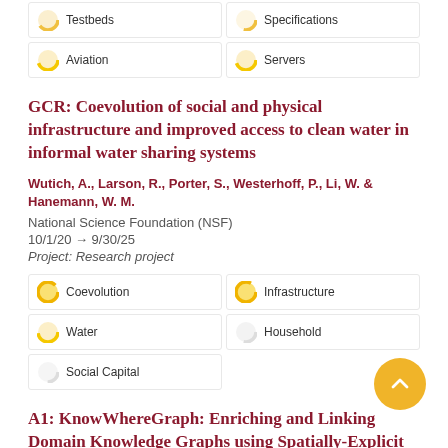Testbeds
Specifications
Aviation
Servers
GCR: Coevolution of social and physical infrastructure and improved access to clean water in informal water sharing systems
Wutich, A., Larson, R., Porter, S., Westerhoff, P., Li, W. & Hanemann, W. M.
National Science Foundation (NSF)
10/1/20 → 9/30/25
Project: Research project
Coevolution
Infrastructure
Water
Household
Social Capital
A1: KnowWhereGraph: Enriching and Linking Domain Knowledge Graphs using Spatially-Explicit